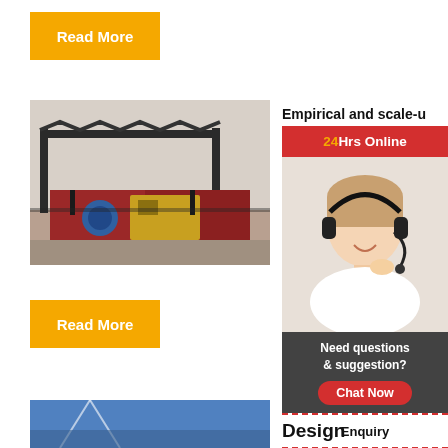Read More
[Figure (photo): Industrial machinery / mining equipment with conveyor structures and machinery outdoors]
Empirical and scale-u in stirre ...
2011-4-1
Read More
[Figure (infographic): Sidebar with 24Hrs Online header, customer service agent photo, Need questions & suggestion panel, Chat Now button, Enquiry link, limingjlmofen link]
[Figure (photo): Partial bottom image strip showing industrial/engineering equipment in blue tones]
Design